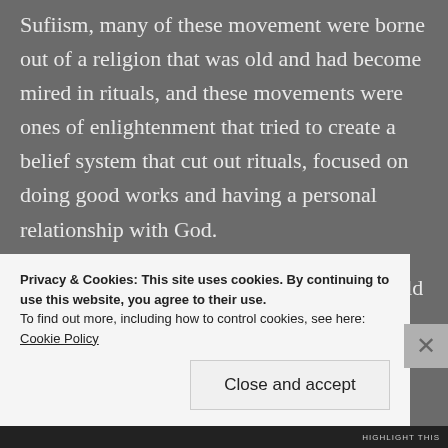Sufiism, many of these movement were borne out of a religion that was old and had become mired in rituals, and these movements were ones of enlightenment that tried to create a belief system that cut out rituals, focused on doing good works and having a personal relationship with God.
Psychologically it makes sense that we would find rituals comforting. It's an easy rule to follow. Do this, on this date, in this way, and you are pleasing God. Go to church every Sunday,
Privacy & Cookies: This site uses cookies. By continuing to use this website, you agree to their use.
To find out more, including how to control cookies, see here: Cookie Policy
Close and accept